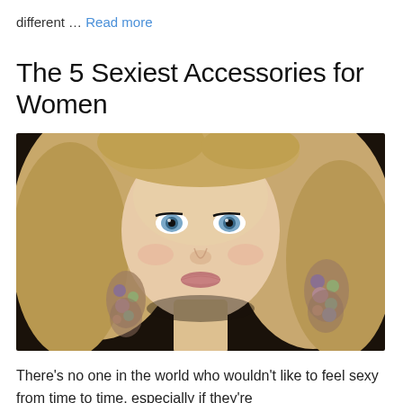different … Read more
The 5 Sexiest Accessories for Women
[Figure (photo): Close-up portrait of a blonde woman with blue eyes wearing large decorative earrings]
There's no one in the world who wouldn't like to feel sexy from time to time, especially if they're